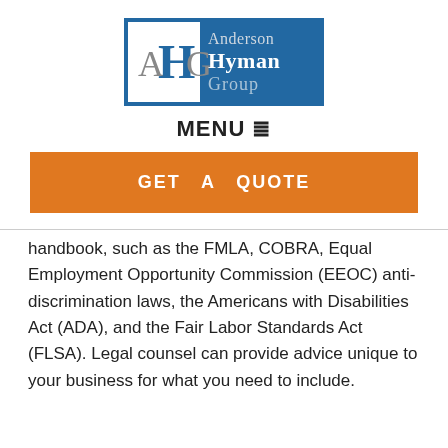[Figure (logo): Anderson Hyman Group logo with AHG monogram on blue background]
MENU ≡
GET A QUOTE
handbook, such as the FMLA, COBRA, Equal Employment Opportunity Commission (EEOC) anti-discrimination laws, the Americans with Disabilities Act (ADA), and the Fair Labor Standards Act (FLSA). Legal counsel can provide advice unique to your business for what you need to include.